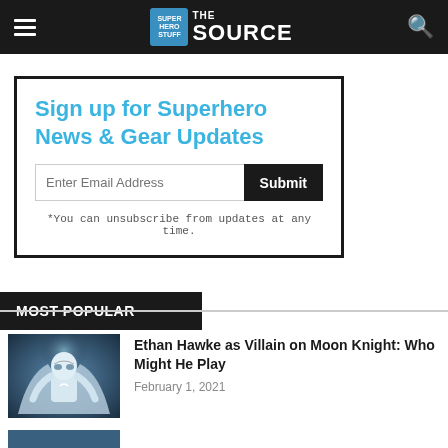SuperHeroStuff THE SOURCE
Sign up for Superhero News & Gear Updates
Enter Email Address
Submit
*You can unsubscribe from updates at any time.
MOST POPULAR
Ethan Hawke as Villain on Moon Knight: Who Might He Play
February 1, 2021